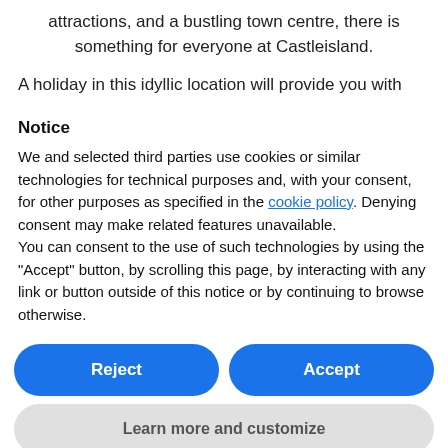attractions, and a bustling town centre, there is something for everyone at Castleisland.
A holiday in this idyllic location will provide you with
Notice
We and selected third parties use cookies or similar technologies for technical purposes and, with your consent, for other purposes as specified in the cookie policy. Denying consent may make related features unavailable.
You can consent to the use of such technologies by using the "Accept" button, by scrolling this page, by interacting with any link or button outside of this notice or by continuing to browse otherwise.
Reject
Accept
Learn more and customize